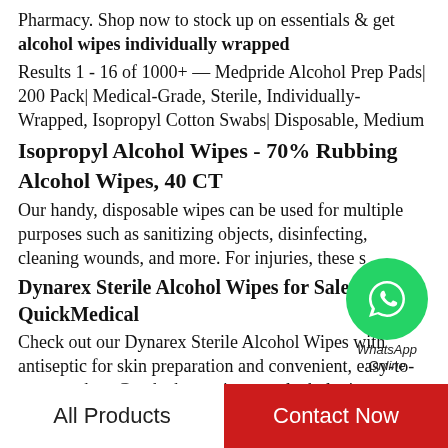Pharmacy. Shop now to stock up on essentials & get alcohol wipes individually wrapped
Results 1 - 16 of 1000+ — Medpride Alcohol Prep Pads| 200 Pack| Medical-Grade, Sterile, Individually-Wrapped, Isopropyl Cotton Swabs| Disposable, Medium
Isopropyl Alcohol Wipes - 70% Rubbing Alcohol Wipes, 40 CT
Our handy, disposable wipes can be used for multiple purposes such as sanitizing objects, disinfecting, cleaning wounds, and more. For injuries, these s
Dynarex Sterile Alcohol Wipes for Sale | QuickMedical
Check out our Dynarex Sterile Alcohol Wipes with antiseptic for skin preparation and convenient, easy-to-tear pouches. Get the best prices on alcohol wipes
Alcohol Wipes & Swabs | Alcohol Prep Pads | Vitality Medical
Available in Alcohol Swabs, Alcohol Wipes, Isopropyl...
[Figure (logo): WhatsApp green circle icon with phone handset, labeled WhatsApp Online]
All Products   Contact Now